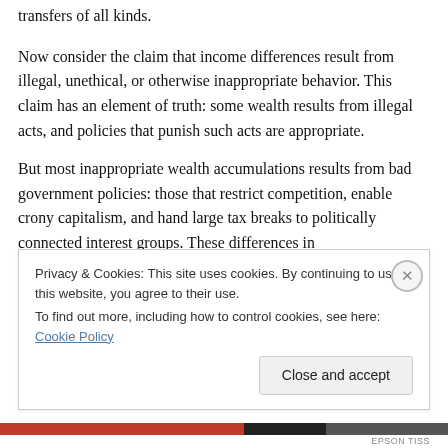transfers of all kinds.
Now consider the claim that income differences result from illegal, unethical, or otherwise inappropriate behavior. This claim has an element of truth: some wealth results from illegal acts, and policies that punish such acts are appropriate.
But most inappropriate wealth accumulations results from bad government policies: those that restrict competition, enable crony capitalism, and hand large tax breaks to politically connected interest groups. These differences in
Privacy & Cookies: This site uses cookies. By continuing to use this website, you agree to their use.
To find out more, including how to control cookies, see here: Cookie Policy
Close and accept